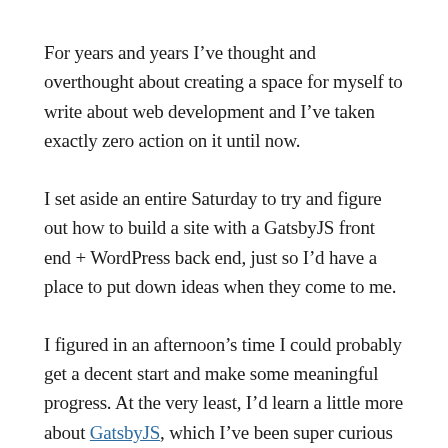For years and years I've thought and overthought about creating a space for myself to write about web development and I've taken exactly zero action on it until now.
I set aside an entire Saturday to try and figure out how to build a site with a GatsbyJS front end + WordPress back end, just so I'd have a place to put down ideas when they come to me.
I figured in an afternoon's time I could probably get a decent start and make some meaningful progress. At the very least, I'd learn a little more about GatsbyJS, which I've been super curious about.